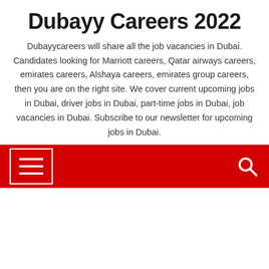Dubayy Careers 2022
Dubayycareers will share all the job vacancies in Dubai. Candidates looking for Marriott careers, Qatar airways careers, emirates careers, Alshaya careers, emirates group careers, then you are on the right site. We cover current upcoming jobs in Dubai, driver jobs in Dubai, part-time jobs in Dubai, job vacancies in Dubai. Subscribe to our newsletter for upcoming jobs in Dubai.